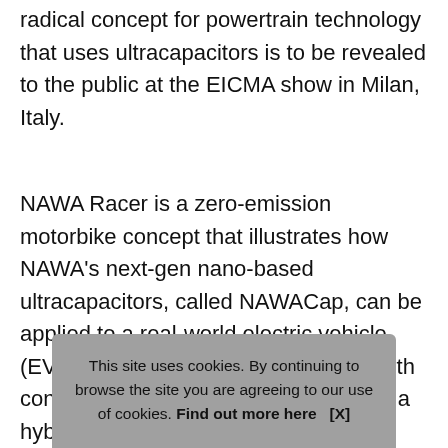radical concept for powertrain technology that uses ultracapacitors is to be revealed to the public at the EICMA show in Milan, Italy.
NAWA Racer is a zero-emission motorbike concept that illustrates how NAWA's next-gen nano-based ultracapacitors, called NAWACap, can be applied to a real-world electric vehicle (EV) powertrain, by combining them with conventional lithium-ion cells to create a hybrid battery system.
Optimising both energy sources, the innovation opens up new possibilities for all e-powe... reducing... well as...
This site uses cookies. By continuing to browse the site you are agreeing to our use of cookies. Find out more here   [X]